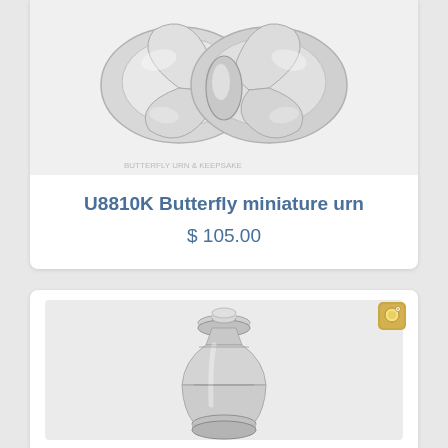[Figure (photo): Silver butterfly miniature urn, shiny metallic butterfly-shaped cremation urn on light gray background]
U8810K Butterfly miniature urn
$ 105.00
[Figure (photo): Silver classic miniature urn, round-topped small metal cremation urn on light gray background]